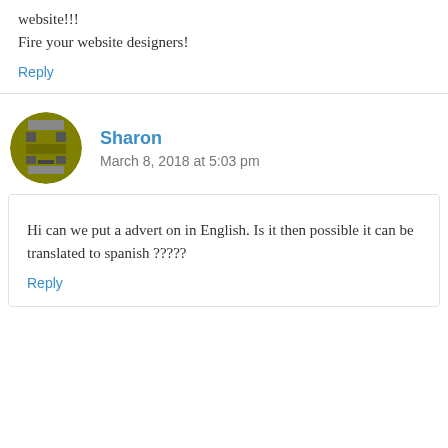website!!!
Fire your website designers!
Reply
Sharon
March 8, 2018 at 5:03 pm
Hi can we put a advert on in English. Is it then possible it can be translated to spanish ?????
Reply